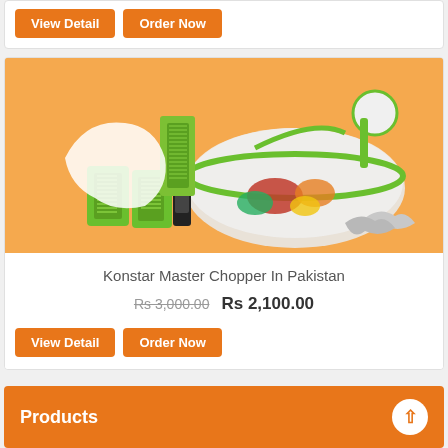View Detail  Order Now
[Figure (photo): Konstar Master Chopper product photo showing green kitchen chopper set with graters, salad spinner bowl, and various blades on orange background]
Konstar Master Chopper In Pakistan
Rs 3,000.00  Rs 2,100.00
View Detail  Order Now
Products